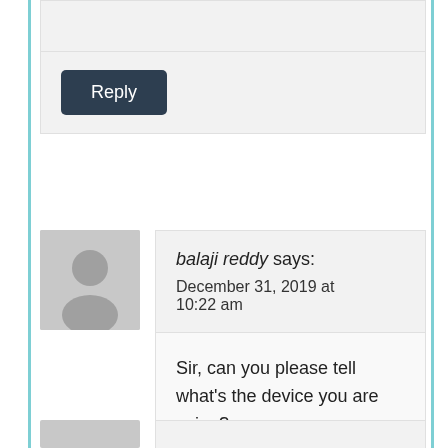Reply (button, top comment block)
balaji reddy says: December 31, 2019 at 10:22 am
Sir, can you please tell what's the device you are using?
Reply (button, balaji reddy comment)